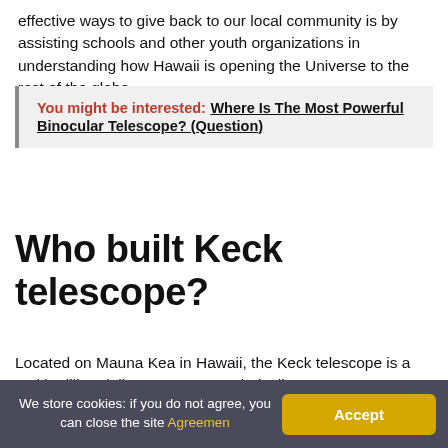effective ways to give back to our local community is by assisting schools and other youth organizations in understanding how Hawaii is opening the Universe to the rest of the globe.
You might be interested: Where Is The Most Powerful Binocular Telescope? (Question)
Who built Keck telescope?
Located on Mauna Kea in Hawaii, the Keck telescope is...
We store cookies: if you do not agree, you can close the site Agreemen  Accept